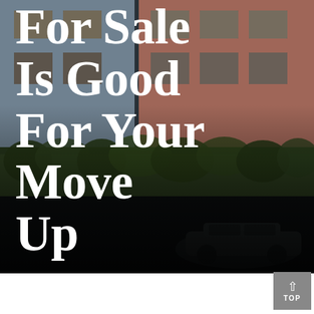[Figure (photo): Street-level photograph of colorful terraced townhouses (blue and pink/red facades) with ivy-covered walls and a dark car parked in front, overlaid with large white serif text]
For Sale Is Good For Your Move Up